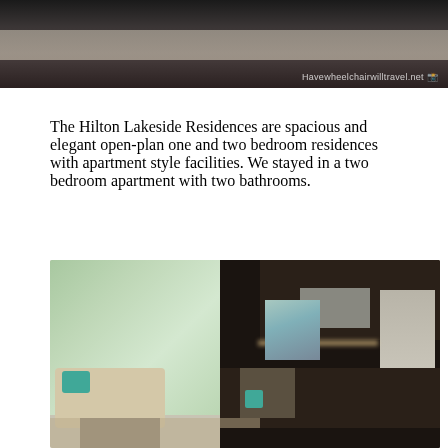[Figure (photo): Top portion of a photo showing what appears to be a dark interior room, partially cropped. Watermark reads 'Havewheelchairwilltravel.net']
The Hilton Lakeside Residences are spacious and elegant open-plan one and two bedroom residences with apartment style facilities. We stayed in a two bedroom apartment with two bathrooms.
[Figure (photo): Interior photo of a Hilton Lakeside Residences apartment showing an open-plan living area and kitchen. The kitchen features dark wood cabinetry, a microwave, oven, sink, and stainless steel refrigerator. The living area has a beige sofa with teal cushion, a console table with a teal decorative item, and floor-to-ceiling windows with curtains showing greenery outside. An abstract artwork hangs on the wall.]